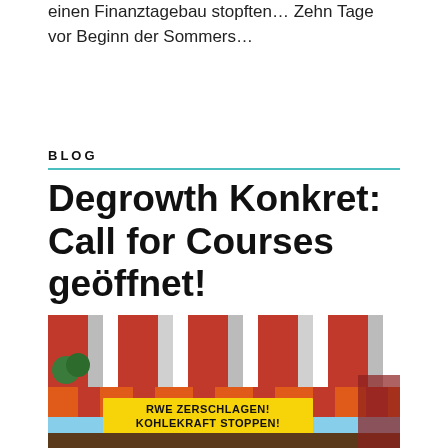einen Finanztagebau stopften… Zehn Tage vor Beginn der Sommers…
BLOG
Degrowth Konkret: Call for Courses geöffnet!
[Figure (photo): Outdoor photo of a red and white striped circus-style tent with a yellow banner reading 'RWE ZERSCHLAGEN! KOHLEKRAFT STOPPEN!' hanging on its side, under a blue sky.]